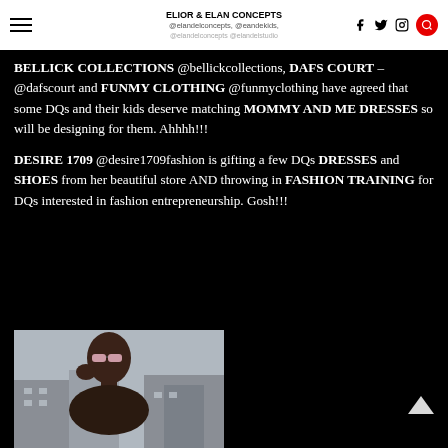ELIOR & ELAN CONCEPTS @elandelconcepts, @eandekids,
BELLICK COLLECTIONS @bellickcollections, DAFS COURT – @dafscourt and FUNMY CLOTHING @funmyclothing have agreed that some DQs and their kids deserve matching MOMMY AND ME DRESSES so will be designing for them. Ahhhh!!!
DESIRE 1709 @desire1709fashion is gifting a few DQs DRESSES and SHOES from her beautiful store AND throwing in FASHION TRAINING for DQs interested in fashion entrepreneurship. Gosh!!!
[Figure (photo): Partial photo of a young woman wearing sunglasses, outdoors with buildings in background]